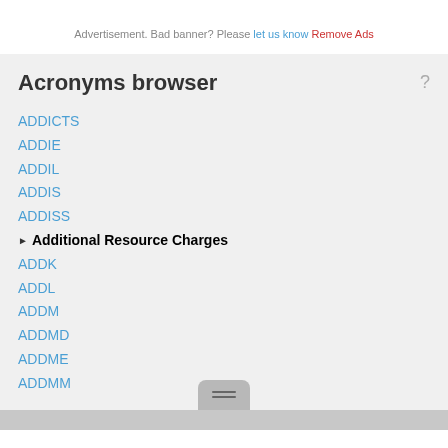Advertisement. Bad banner? Please let us know Remove Ads
Acronyms browser
ADDICTS
ADDIE
ADDIL
ADDIS
ADDISS
Additional Resource Charges
ADDK
ADDL
ADDM
ADDMD
ADDME
ADDMM